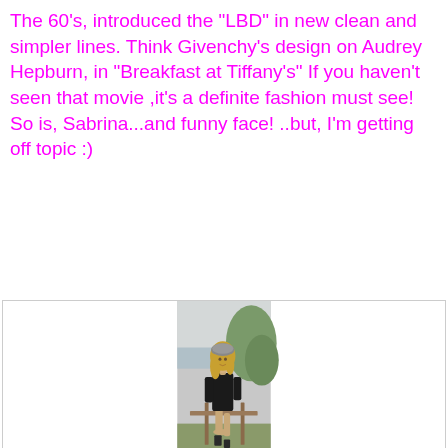The 60's, introduced the "LBD" in new clean and simpler lines. Think Givenchy's design on Audrey Hepburn, in "Breakfast at Tiffany's" If you haven't seen that movie ,it's a definite fashion must see! So is, Sabrina...and funny face! ..but, I'm getting off topic :)
[Figure (photo): A blonde woman wearing a grey beret and a short black dress/top, sitting on a wooden fence in an outdoor setting with a coastal hillside background. She is wearing black ankle boots.]